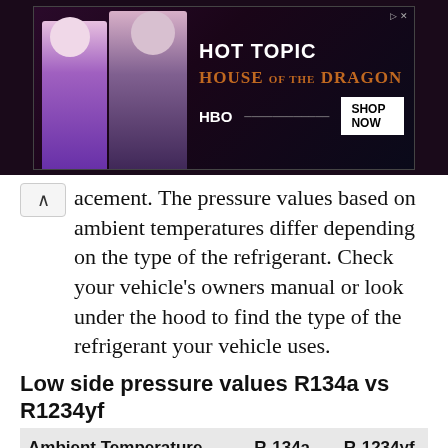[Figure (illustration): Advertisement banner for Hot Topic featuring House of the Dragon HBO merchandise with two characters in purple/dark outfits, HOT TOPIC logo, HOUSE OF THE DRAGON text, HBO logo, and SHOP NOW button]
acement. The pressure values based on ambient temperatures differ depending on the type of the refrigerant. Check your vehicle's owners manual or look under the hood to find the type of the refrigerant your vehicle uses.
Low side pressure values R134a vs R1234yf
| Ambient Temperature | R-134a | R-1234yf |
| --- | --- | --- |
| 70°F (21°C) | 35-40 psi | 20-30 psi |
| 80°F (27°C) | 40-50 psi | 25-35 psi |